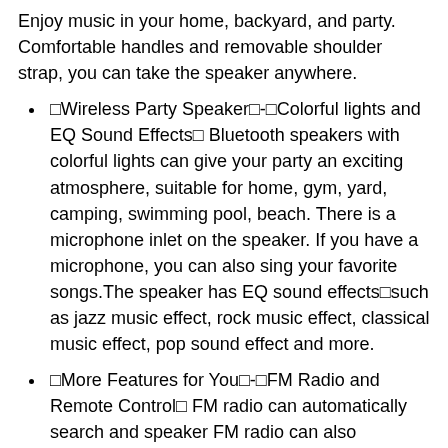Enjoy music in your home, backyard, and party. Comfortable handles and removable shoulder strap, you can take the speaker anywhere.
🔊Wireless Party Speaker🔊-🔊Colorful lights and EQ Sound Effects🔊 Bluetooth speakers with colorful lights can give your party an exciting atmosphere, suitable for home, gym, yard, camping, swimming pool, beach. There is a microphone inlet on the speaker. If you have a microphone, you can also sing your favorite songs.The speaker has EQ sound effects🔊such as jazz music effect, rock music effect, classical music effect, pop sound effect and more.
🔊More Features for You🔊-🔊FM Radio and Remote Control🔊 FM radio can automatically search and speaker FM radio can also manually input a station using the remote control number pad. You can remotely control the wireless speaker without moving, The remote control is facing the speaker to remotely control all functions of the wireless speaker. The remote control